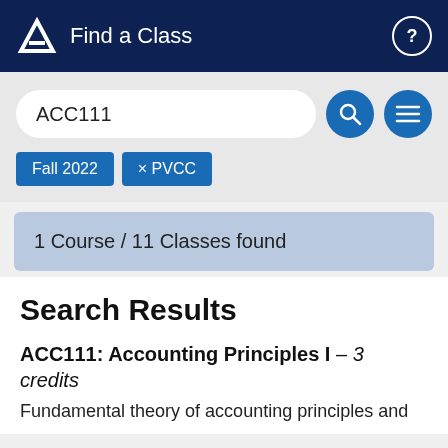Find a Class
ACC111
Fall 2022  × PVCC
1 Course / 11 Classes found
Search Results
ACC111: Accounting Principles I – 3 credits
Fundamental theory of accounting principles and